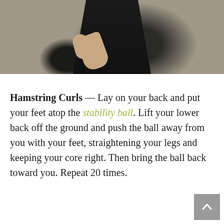[Figure (photo): Partial view of a person in black athletic clothing, showing arm and hand, against a stone wall background.]
Hamstring Curls — Lay on your back and put your feet atop the stability ball. Lift your lower back off the ground and push the ball away from you with your feet, straightening your legs and keeping your core right. Then bring the ball back toward you. Repeat 20 times.